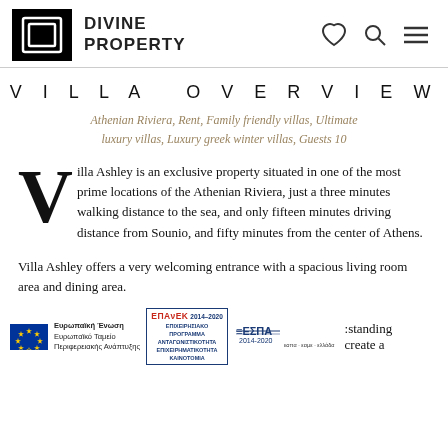DIVINE PROPERTY
VILLA OVERVIEW
Athenian Riviera, Rent, Family friendly villas, Ultimate luxury villas, Luxury greek winter villas, Guests 10
Villa Ashley is an exclusive property situated in one of the most prime locations of the Athenian Riviera, just a three minutes walking distance to the sea, and only fifteen minutes driving distance from Sounio, and fifty minutes from the center of Athens.
Villa Ashley offers a very welcoming entrance with a spacious living room area and dining area.
[Figure (logo): EU funding logos: Ευρωπαϊκή Ένωση / Ευρωπαϊκό Ταμείο Περιφερειακής Ανάπτυξης, ΕΠΑνΕΚ 2014-2020, ΕΣΠΑ 2014-2020]